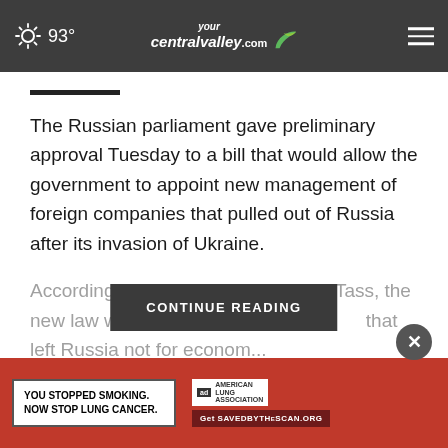yourcentralvalley.com — 93°
The Russian parliament gave preliminary approval Tuesday to a bill that would allow the government to appoint new management of foreign companies that pulled out of Russia after its invasion of Ukraine.
According to the state news agency Tass, the new law would transfer [CONTINUE READING overlay] that left Russia not for economic...
[Figure (screenshot): CONTINUE READING button overlay in dark gray]
[Figure (screenshot): Advertisement banner: YOU STOPPED SMOKING. NOW STOP LUNG CANCER. — American Lung Association — Get SAVEDBYTHE SCAN.ORG]